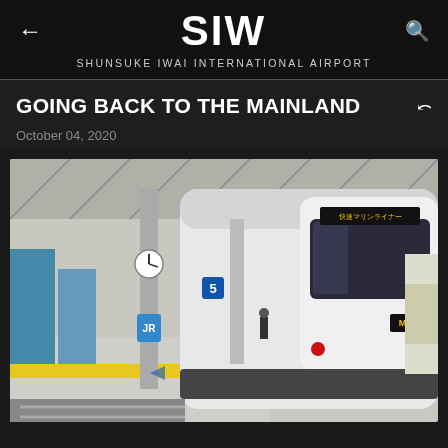SIW
SHUNSUKE IWAI INTERNATIONAL AIRPORT
GOING BACK TO THE MAINLAND
October 04, 2020
[Figure (photo): A white Japanese train (Marine Liner rapid service) at a train station platform. The train is modern with a rounded front and dark windshield. Platform has yellow safety tactile strip, signage including number 5, vending machines, and a person walking in the background.]